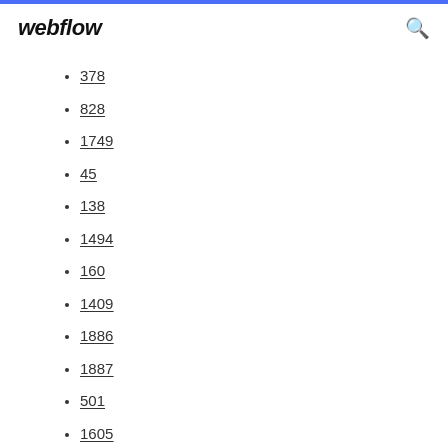webflow
378
828
1749
45
138
1494
160
1409
1886
1887
501
1605